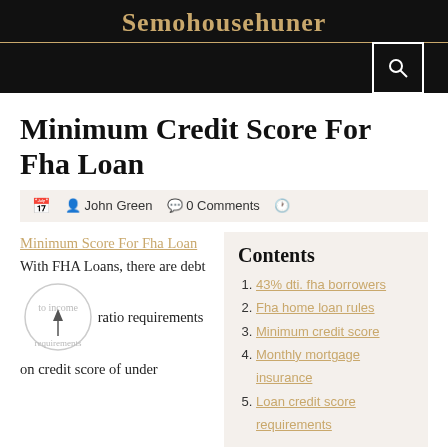Semohousehuner
Minimum Credit Score For Fha Loan
John Green  0 Comments
Minimum Score For Fha Loan With FHA Loans, there are debt to income ratio requirements on credit score of under
Contents
43% dti. fha borrowers
Fha home loan rules
Minimum credit score
Monthly mortgage insurance
Loan credit score requirements